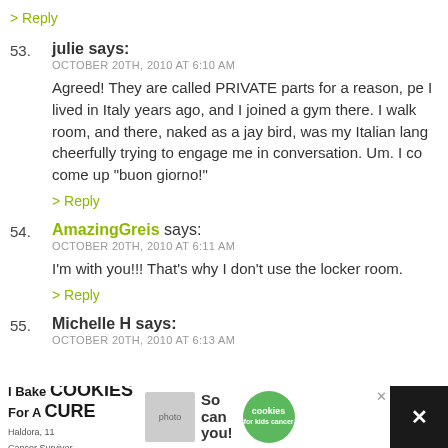> Reply
53. julie says: OCTOBER 20TH, 2010 AT 6:10 AM
Agreed! They are called PRIVATE parts for a reason, pe I lived in Italy years ago, and I joined a gym there. I walk room, and there, naked as a jay bird, was my Italian lang cheerfully trying to engage me in conversation. Um. I co come up "buon giorno!"
> Reply
54. AmazingGreis says: OCTOBER 20TH, 2010 AT 6:11 AM
I'm with you!!! That's why I don't use the locker room.
> Reply
55. Michelle H says: OCTOBER 20TH, 2010 AT 6:13 AM
[Figure (screenshot): Advertisement banner: I Bake COOKIES For A CURE - Haldora, 11 Cancer Survivor - So can you! (cookies for kids cancer)]